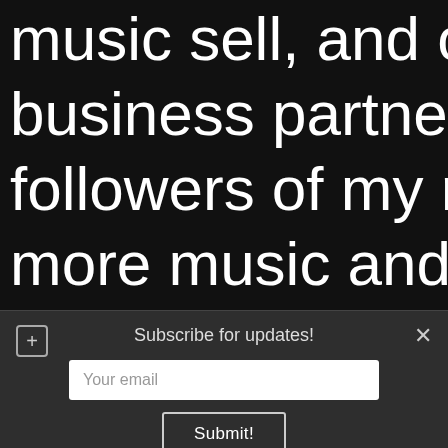music sell, and of course like m business partner or brand inte followers of my music. My m more music and find the right
Subscribe for updates!
[Figure (screenshot): Email subscription form with 'Your email' input field and 'Submit!' button on a dark background panel]